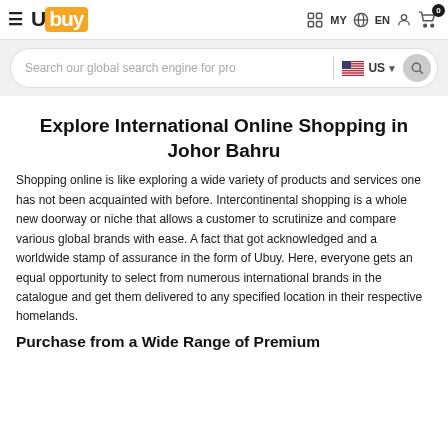≡ Ubuy  MY  EN  [user icon]  [cart 0]
[Figure (screenshot): Search bar with text 'Search our global search engine for pro', US flag dropdown, and search button]
Explore International Online Shopping in Johor Bahru
Shopping online is like exploring a wide variety of products and services one has not been acquainted with before. Intercontinental shopping is a whole new doorway or niche that allows a customer to scrutinize and compare various global brands with ease. A fact that got acknowledged and a worldwide stamp of assurance in the form of Ubuy. Here, everyone gets an equal opportunity to select from numerous international brands in the catalogue and get them delivered to any specified location in their respective homelands.
Purchase from a Wide Range of Premium